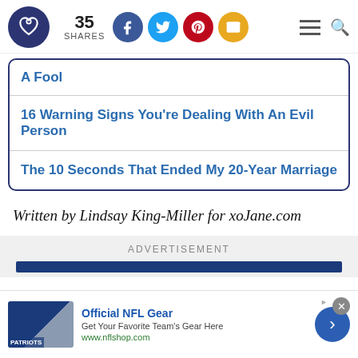35 SHARES | Social share icons | Menu | Search
A Fool
16 Warning Signs You're Dealing With An Evil Person
The 10 Seconds That Ended My 20-Year Marriage
Written by Lindsay King-Miller for xoJane.com
ADVERTISEMENT
Official NFL Gear
Get Your Favorite Team's Gear Here
www.nflshop.com